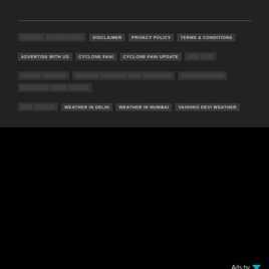Navigation footer with links: [garbled text] DISCLAIMER  PRIVACY POLICY  TERMS & CONDITIONS  ADVERTISE WITH US  CYCLONE FANI  CYCLONE FANI UPDATE  [garbled]  [garbled rows]  WEATHER IN DELHI  WEATHER IN MUMBAI  VAISHNO DEVI WEATHER
[Figure (screenshot): Black advertisement area with 'Ads by' label and a blue triangle logo, and a loading spinner circle in the center]